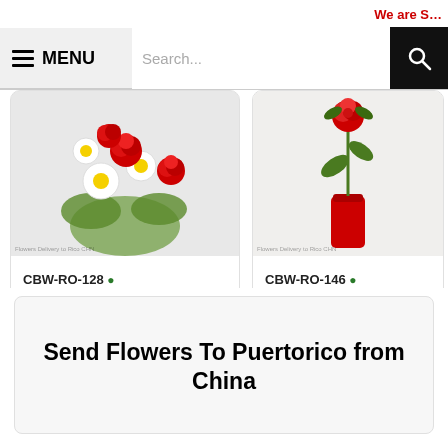We are S…
MENU
[Figure (screenshot): Search bar with magnifying glass icon on black background]
[Figure (photo): Flower bouquet with red roses and white daisies]
CBW-RO-128
Chinese Yen 744
ORDER NO
[Figure (photo): Single red rose in a red vase on white background]
CBW-RO-146
Chinese Yen 434
ORDER NO
Send Flowers To Puertorico from China